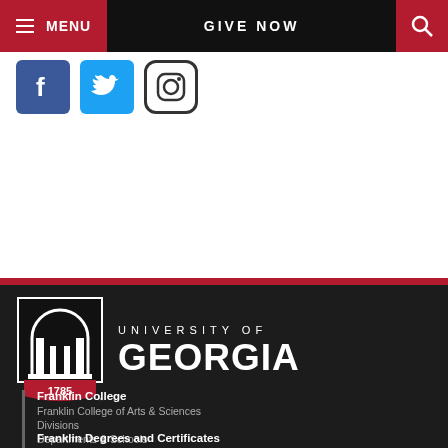MENU | GIVE NOW | Search
[Figure (screenshot): Social media icons: Facebook, Twitter, Instagram]
[Figure (logo): University of Georgia logo with arch seal dated 1785 and text UNIVERSITY OF GEORGIA]
Franklin College
Franklin College of Arts & Sciences
Divisions
Departments & Schools
Centers, Institutes & Programs
IT Support
Franklin Degrees and Certificates